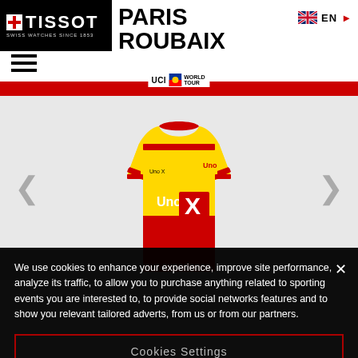[Figure (logo): Tissot logo on black background, top left]
PARIS ROUBAIX
[Figure (logo): UK flag with EN language selector]
[Figure (logo): UCI WorldTour logo badge]
[Figure (photo): Cycling jersey - yellow and red Uno-X team jersey with red navigation arrows on sides]
We use cookies to enhance your experience, improve site performance, analyze its traffic, to allow you to purchase anything related to sporting events you are interested to, to provide social networks features and to show you relevant tailored adverts, from us or from our partners.
Cookies Settings
Reject All